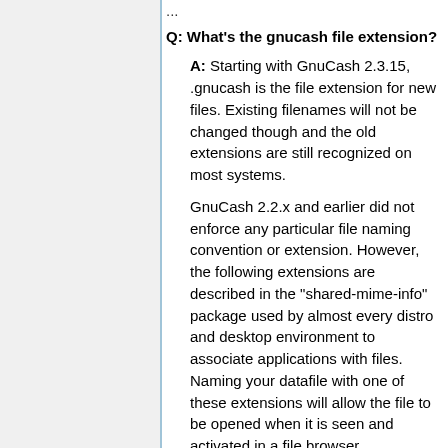...
Q: What's the gnucash file extension?
A: Starting with GnuCash 2.3.15, .gnucash is the file extension for new files. Existing filenames will not be changed though and the old extensions are still recognized on most systems.
GnuCash 2.2.x and earlier did not enforce any particular file naming convention or extension. However, the following extensions are described in the "shared-mime-info" package used by almost every distro and desktop environment to associate applications with files. Naming your datafile with one of these extensions will allow the file to be opened when it is seen and activated in a file browser.